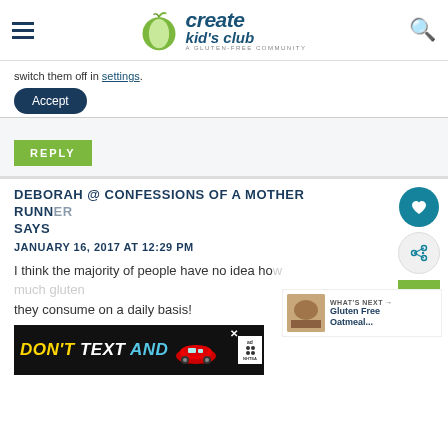create kid's club - A Gluten-Free Community
switch them off in settings.
Accept
REPLY
DEBORAH @ CONFESSIONS OF A MOTHER RUNNER SAYS
JANUARY 16, 2017 AT 12:29 PM
I think the majority of people have no idea ho... they consume on a daily basis!
[Figure (screenshot): DON'T TEXT AND [car image] advertisement banner with NHTSA logo]
WHAT'S NEXT → Gluten Free Oatmeal...